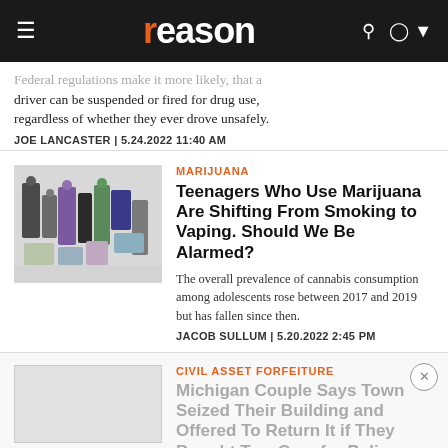reason
Federal regulations make it more likely that a driver can be suspended or fired for drug use, regardless of whether they ever drove unsafely.
JOE LANCASTER | 5.24.2022 11:40 AM
[Figure (photo): Assorted marijuana vaping products and accessories arranged on a white surface]
MARIJUANA
Teenagers Who Use Marijuana Are Shifting From Smoking to Vaping. Should We Be Alarmed?
The overall prevalence of cannabis consumption among adolescents rose between 2017 and 2019 but has fallen since then.
JACOB SULLUM | 5.20.2022 2:45 PM
CIVIL ASSET FORFEITURE
Michigan Couple Says Town Seized Their Building and Offered To Return It if They Bought Two Cars for Police
"Extortion, there's no other way to explain it."